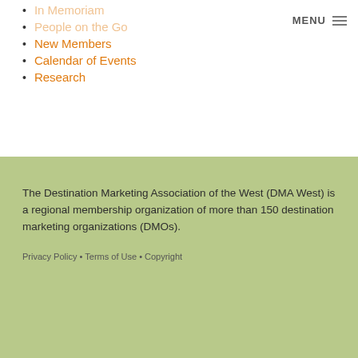In Memoriam
People on the Go
New Members
Calendar of Events
Research
The Destination Marketing Association of the West (DMA West) is a regional membership organization of more than 150 destination marketing organizations (DMOs).
Privacy Policy • Terms of Use • Copyright